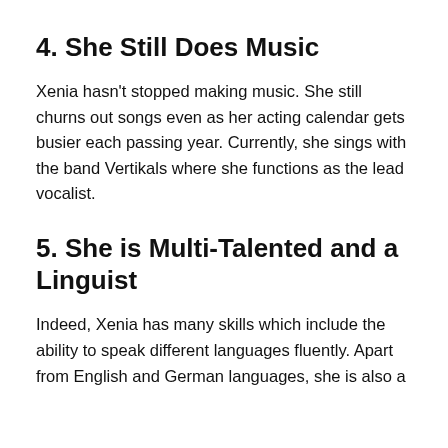4. She Still Does Music
Xenia hasn't stopped making music. She still churns out songs even as her acting calendar gets busier each passing year. Currently, she sings with the band Vertikals where she functions as the lead vocalist.
5. She is Multi-Talented and a Linguist
Indeed, Xenia has many skills which include the ability to speak different languages fluently. Apart from English and German languages, she is also a